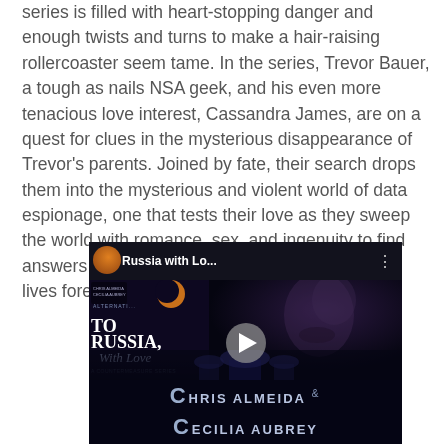series is filled with heart-stopping danger and enough twists and turns to make a hair-raising rollercoaster seem tame. In the series, Trevor Bauer, a tough as nails NSA geek, and his even more tenacious love interest, Cassandra James, are on a quest for clues in the mysterious disappearance of Trevor's parents. Joined by fate, their search drops them into the mysterious and violent world of data espionage, one that tests their love as they sweep the world with romance, sex, and ingenuity to find answers that will have the power to change their lives forever.
[Figure (other): Embedded video thumbnail for 'To Russia with Lo...' book trailer by Chris Almeida & Cecilia Aubrey. Shows dark book cover with 'To Russia With Love - A Countermeasure Series' title, a woman's silhouette, play button overlay, and author names at bottom. Top bar shows video title and channel icon.]